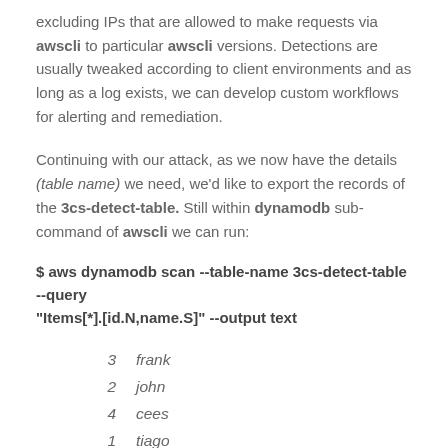excluding IPs that are allowed to make requests via awscli to particular awscli versions. Detections are usually tweaked according to client environments and as long as a log exists, we can develop custom workflows for alerting and remediation.
Continuing with our attack, as we now have the details (table name) we need, we'd like to export the records of the 3cs-detect-table. Still within dynamodb sub-command of awscli we can run:
$ aws dynamodb scan --table-name 3cs-detect-table --query "Items[*].[id.N,name.S]" --output text
| 3 | frank |
| 2 | john |
| 4 | cees |
| 1 | tiago |